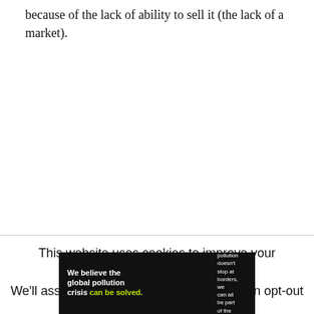because of the lack of ability to sell it (the lack of a market).
This website uses cookies to improve your experience. We'll assume you're ok with this, but you can opt-out if
[Figure (infographic): Pure Earth advertisement banner with black background. Left side: 'We believe the global pollution crisis can be solved.' (crisis in green). Middle: 'In a world where pollution doesn't stop at borders, we can all be part of the solution. JOIN US.' (JOIN US in yellow). Right side: Pure Earth logo with diamond/chevron icon and text 'PURE EARTH' in white.]